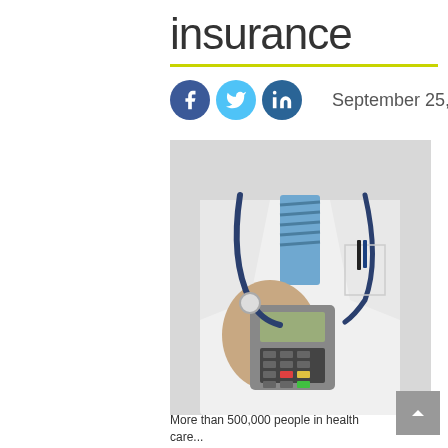insurance
September 25, 2013
[Figure (photo): Doctor in white lab coat with stethoscope holding a payment terminal/card reader device]
More than 500,000 people in health care...